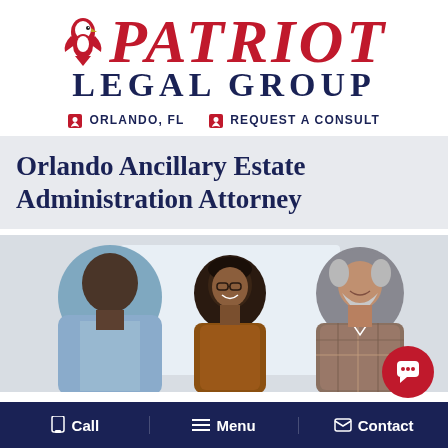[Figure (logo): Patriot Legal Group logo with eagle icon, red italic PATRIOT text and dark navy LEGAL GROUP text]
ORLANDO, FL   REQUEST A CONSULT
Orlando Ancillary Estate Administration Attorney
[Figure (photo): Three people in conversation: a man with back to camera on left, a smiling woman with glasses in center, and a bearded man smiling on right]
Call   Menu   Contact